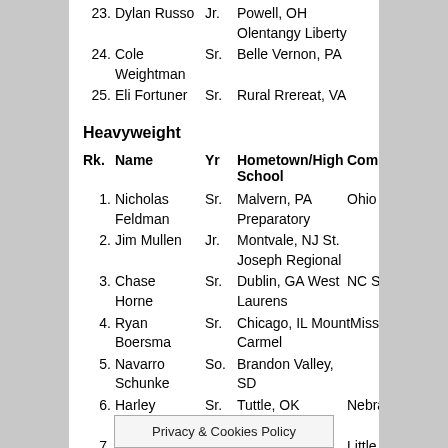23. Dylan Russo Jr. Powell, OH Olentangy Liberty
24. Cole Weightman Sr. Belle Vernon, PA
25. Eli Fortuner Sr. Rural Rrereat, VA
Heavyweight
| Rk. | Name | Yr | Hometown/High School | Committed to: |
| --- | --- | --- | --- | --- |
| 1. | Nicholas Feldman | Sr. | Malvern, PA Preparatory | Ohio State |
| 2. | Jim Mullen | Jr. | Montvale, NJ St. Joseph Regional |  |
| 3. | Chase Horne | Sr. | Dublin, GA West Laurens | NC State |
| 4. | Ryan Boersma | Sr. | Chicago, IL Mount Carmel | Missouri |
| 5. | Navarro Schunke | So. | Brandon Valley, SD |  |
| 6. | Harley Andrews | Sr. | Tuttle, OK | Nebraska |
| 7. | Keith Miley | Sr. | St. Louis, MO Whitfield | Little Rock |
| 8. | Chet Buss | Sr. |  | a |